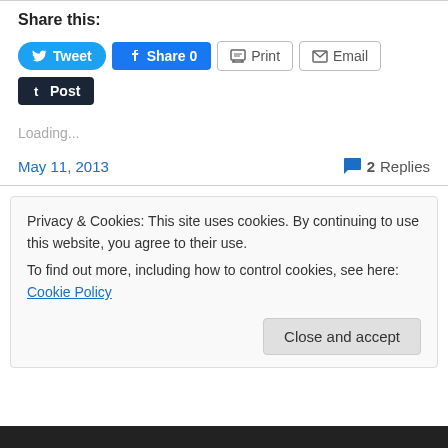Share this:
[Figure (other): Social share buttons: Tweet (Twitter/blue rounded), Share 0 (Facebook/blue), Print (outlined), Email (outlined), Post (Tumblr/dark)]
Loading...
May 11, 2013
2 Replies
Privacy & Cookies: This site uses cookies. By continuing to use this website, you agree to their use.
To find out more, including how to control cookies, see here: Cookie Policy
Close and accept